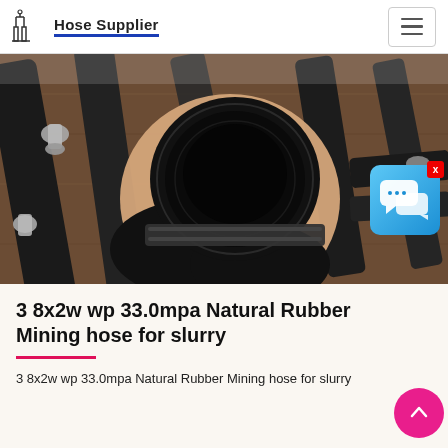Hose Supplier
[Figure (photo): A hand holding a large black rubber hose fitting/end, with multiple black hydraulic hoses laid out on a wooden surface in the background. Various metal fittings and connectors are visible.]
[Figure (screenshot): Blue chat/messaging overlay widget with speech bubble icons, with a red X close button in the top-right corner.]
3 8x2w wp 33.0mpa Natural Rubber Mining hose for slurry
3 8x2w wp 33.0mpa Natural Rubber Mining hose for slurry